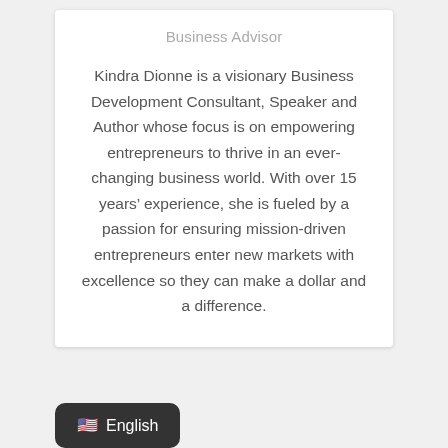Business Advisor
Kindra Dionne is a visionary Business Development Consultant, Speaker and Author whose focus is on empowering entrepreneurs to thrive in an ever-changing business world. With over 15 years’ experience, she is fueled by a passion for ensuring mission-driven entrepreneurs enter new markets with excellence so they can make a dollar and a difference.
English